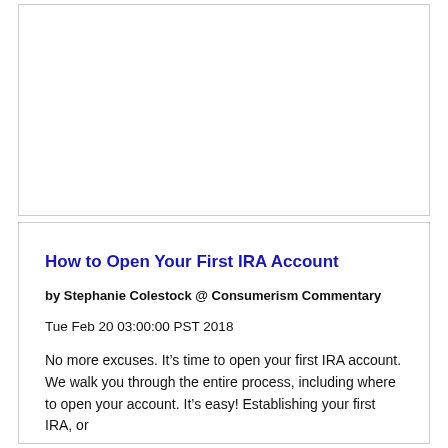[Figure (other): Empty white card / placeholder box at top of page]
How to Open Your First IRA Account
by Stephanie Colestock @ Consumerism Commentary
Tue Feb 20 03:00:00 PST 2018
No more excuses. It’s time to open your first IRA account. We walk you through the entire process, including where to open your account. It’s easy! Establishing your first IRA, or